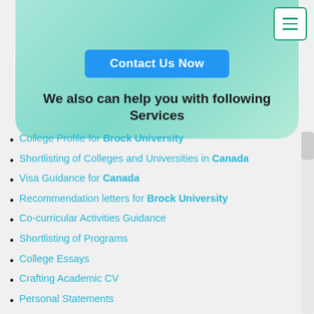[Figure (other): Hamburger menu button with three green horizontal lines, top right corner]
[Figure (other): Teal/mint green rounded card with a blue Contact Us Now button]
We also can help you with following Services
College Profile for Brock University
Shortlisting of Colleges and Universities in Canada
Visa Guidance for Canada
Recommendation letters for Brock University
Co-curricular Activities Guidance
Shortlisting of Programs
College Essays
Crafting Academic CV
Personal Statements
Scholarship and Financial Aid